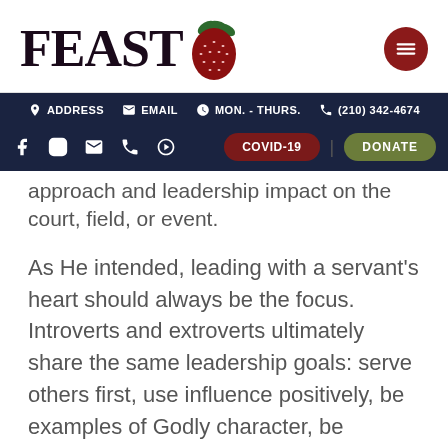[Figure (logo): FEAST logo with strawberry icon and hamburger menu button]
ADDRESS  EMAIL  MON. - THURS.  (210) 342-4674  [social icons]  COVID-19  DONATE
approach and leadership impact on the court, field, or event.
As He intended, leading with a servant's heart should always be the focus. Introverts and extroverts ultimately share the same leadership goals: serve others first, use influence positively, be examples of Godly character, be accountable, and expect nothing in return. They are not self-promoting, but God-promoting, and focus on a "win" for the common good. Personality simply dictates their style of leadership!